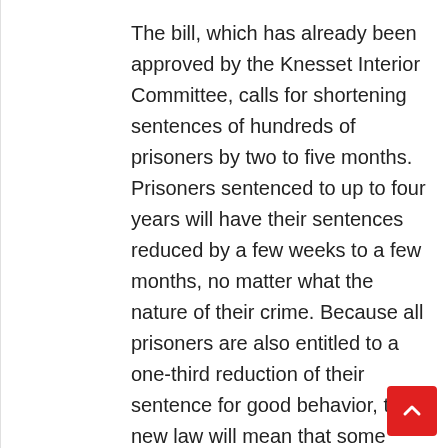The bill, which has already been approved by the Knesset Interior Committee, calls for shortening sentences of hundreds of prisoners by two to five months. Prisoners sentenced to up to four years will have their sentences reduced by a few weeks to a few months, no matter what the nature of their crime. Because all prisoners are also entitled to a one-third reduction of their sentence for good behavior, the new law will mean that some prisoners will be released after serving only half of their sentence.
Prisoners sentenced to more than four years will receive the additional reduction only if they have already been granted one-third off for